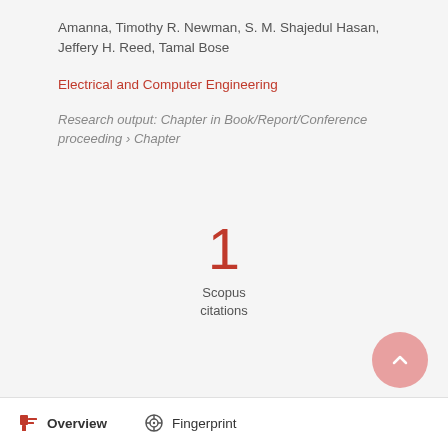Amanna, Timothy R. Newman, S. M. Shajedul Hasan, Jeffery H. Reed, Tamal Bose
Electrical and Computer Engineering
Research output: Chapter in Book/Report/Conference proceeding › Chapter
1
Scopus
citations
Overview   Fingerprint